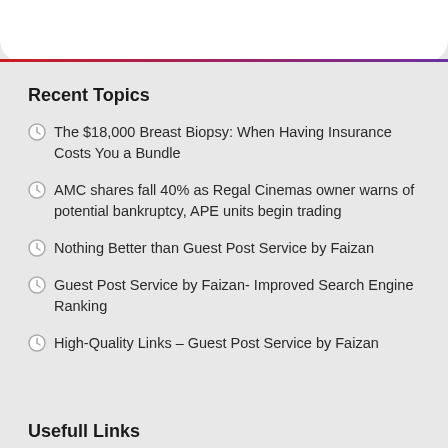[Figure (other): Top white card with rounded bottom corners and a red-to-purple gradient bottom border line]
Recent Topics
The $18,000 Breast Biopsy: When Having Insurance Costs You a Bundle
AMC shares fall 40% as Regal Cinemas owner warns of potential bankruptcy, APE units begin trading
Nothing Better than Guest Post Service by Faizan
Guest Post Service by Faizan- Improved Search Engine Ranking
High-Quality Links – Guest Post Service by Faizan
Usefull Links